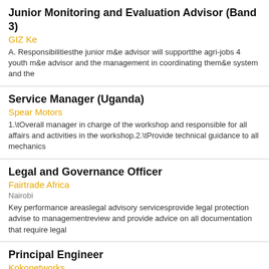Junior Monitoring and Evaluation Advisor (Band 3)
GIZ Ke
A. Responsibilitiesthe junior m&e advisor will supportthe agri-jobs 4 youth m&e advisor and the management in coordinating them&e system and the
Service Manager (Uganda)
Spear Motors
1.\tOverall manager in charge of the workshop and responsible for all affairs and activities in the workshop.2.\tProvide technical guidance to all mechanics
Legal and Governance Officer
Fairtrade Africa
Nairobi
Key performance areaslegal advisory servicesprovide legal protection advise to managementreview and provide advice on all documentation that require legal
Principal Engineer
Kokonetworks
Nairobi
As Koko grows within and outside Kenya, our team is looking for highly